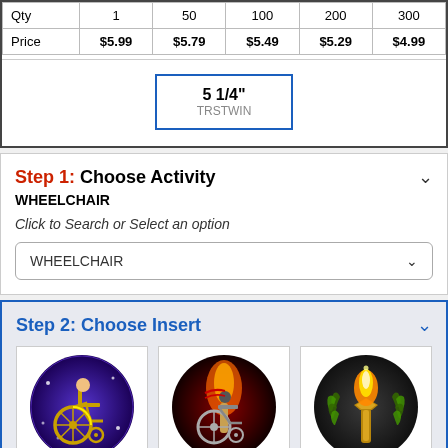| Qty | 1 | 50 | 100 | 200 | 300 |
| --- | --- | --- | --- | --- | --- |
| Price | $5.99 | $5.79 | $5.49 | $5.29 | $4.99 |
5 1/4" TRSTWIN
Step 1: Choose Activity WHEELCHAIR
Click to Search or Select an option
WHEELCHAIR
Step 2: Choose Insert
[Figure (illustration): Three circular medal inserts: first shows a wheelchair on blue/purple background with stars, second shows a wheelchair with flame/torch on red/black background, third shows a gold flame torch with laurel wreath on dark background.]